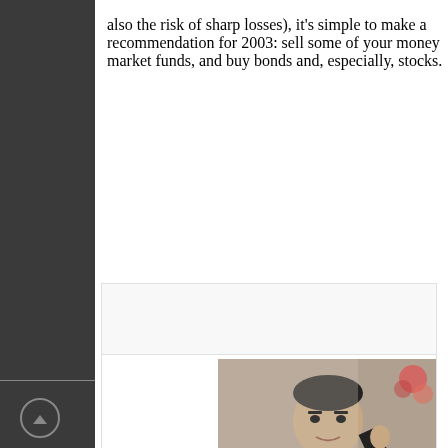also the risk of sharp losses), it's simple to make a recommendation for 2003: sell some of your money market funds, and buy bonds and, especially, stocks.
[Figure (photo): Portrait photo of Petr Beneš, a man in a dark suit with his hand raised to his face in a thoughtful pose]
Petr Beneš
Photo: